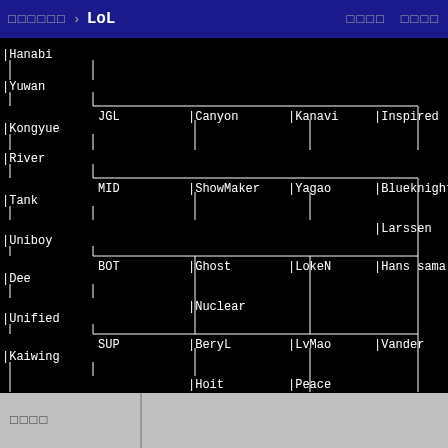□□□□□□ › LoL □□□□ □□□□
[Figure (organizational-chart): League of Legends player comparison chart showing roles (JGL, MID, BOT, SUP) with players listed in columns: Canyon, Kanavi, Inspired for JGL; ShowMaker, Yagao, Blueknight for MID; Ghost, LokeN, Hans sama for BOT; BeryL, LvMao, Vander for SUP. Additional players: Hanabi, Yuwan, Kongyue, River, Tank, Uniboy, Dee, Unified, Kaiwing with alternates Nuclear, Hoit, Peace, Larssen]
□□□□